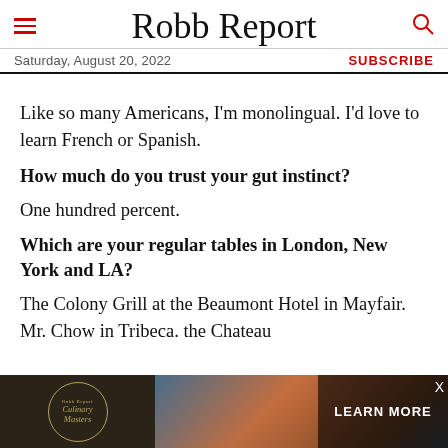Robb Report — Saturday, August 20, 2022 — SUBSCRIBE
Like so many Americans, I'm monolingual. I'd love to learn French or Spanish.
How much do you trust your gut instinct?
One hundred percent.
Which are your regular tables in London, New York and LA?
The Colony Grill at the Beaumont Hotel in Mayfair. Mr. Chow in Tribeca. the Chateau
[Figure (other): Advertisement banner for Robb Report Culinary Masters with a circular logo on the left, scenic background in the middle, and a 'LEARN MORE' button on the right.]